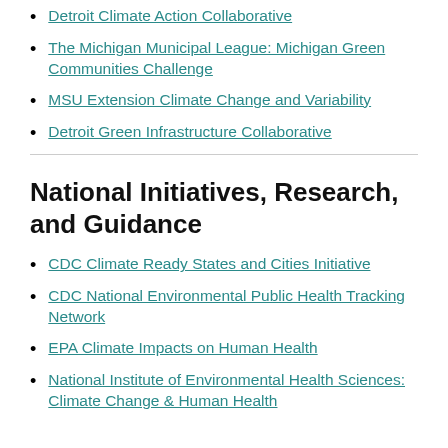Detroit Climate Action Collaborative
The Michigan Municipal League: Michigan Green Communities Challenge
MSU Extension Climate Change and Variability
Detroit Green Infrastructure Collaborative
National Initiatives, Research, and Guidance
CDC Climate Ready States and Cities Initiative
CDC National Environmental Public Health Tracking Network
EPA Climate Impacts on Human Health
National Institute of Environmental Health Sciences: Climate Change & Human Health